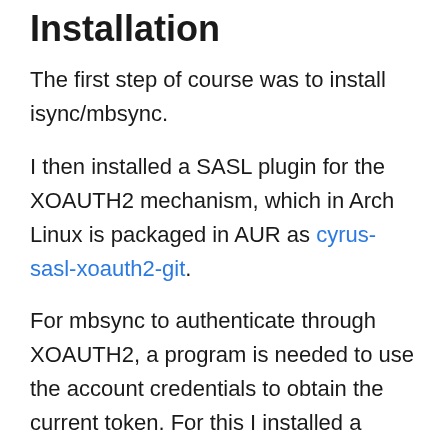Installation
The first step of course was to install isync/mbsync.
I then installed a SASL plugin for the XOAUTH2 mechanism, which in Arch Linux is packaged in AUR as cyrus-sasl-xoauth2-git.
For mbsync to authenticate through XOAUTH2, a program is needed to use the account credentials to obtain the current token. For this I installed a python package called oauth2token which can be installed with pip, or directly from AUR. Thanks to